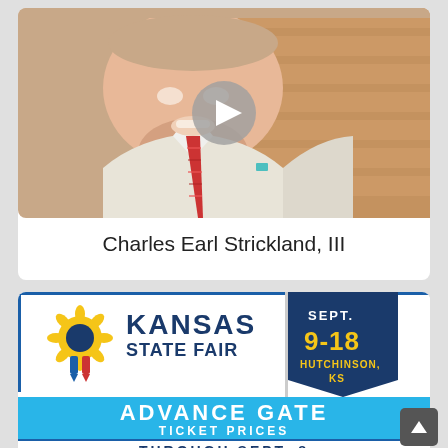[Figure (photo): Photo of Charles Earl Strickland III, an older man with a beard wearing a white jacket and red striped tie, smiling, with a brick wall background. A circular play button overlay is visible in the center of the image.]
Charles Earl Strickland, III
[Figure (infographic): Kansas State Fair advertisement banner. Left side shows sunflower icon with 'KANSAS STATE FAIR' text in navy blue. Right side has a dark navy pennant shape with 'SEPT. 9-18' in yellow and 'HUTCHINSON, KS' below. Below is a blue bar reading 'ADVANCE GATE TICKET PRICES'. Bottom shows 'THROUGH SEPT. 8' in navy text.]